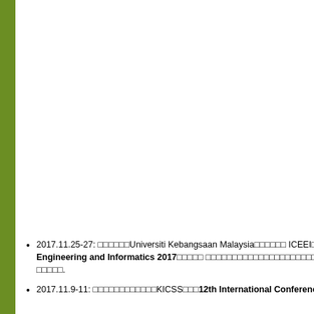2017.11.25-27: ○○○○○○Universiti Kebangsaan Malaysia○○○○○○ ICEEI○ Engineering and Informatics 2017○○○○○○ ○○○○○○○○○○○○○○○○○ ○○○○○.
2017.11.9-11: ○○○○○○○○○○○○KICSS○○○12th International Conference